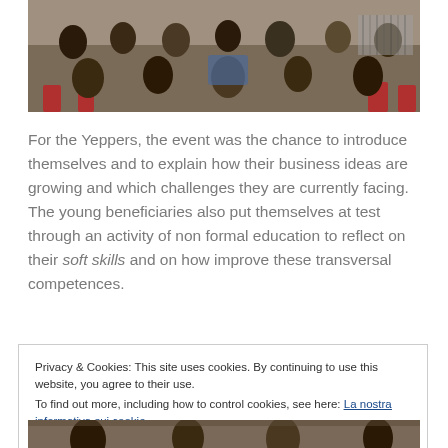[Figure (photo): Photograph of people seated at an event, viewed from behind, showing a crowded audience with red chairs]
For the Yeppers, the event was the chance to introduce themselves and to explain how their business ideas are growing and which challenges they are currently facing. The young beneficiaries also put themselves at test through an activity of non formal education to reflect on their soft skills and on how improve these transversal competences.
Privacy & Cookies: This site uses cookies. By continuing to use this website, you agree to their use.
To find out more, including how to control cookies, see here: La nostra informativa sui cookie
[Figure (photo): Partial photograph at the bottom of the page showing people at an event]